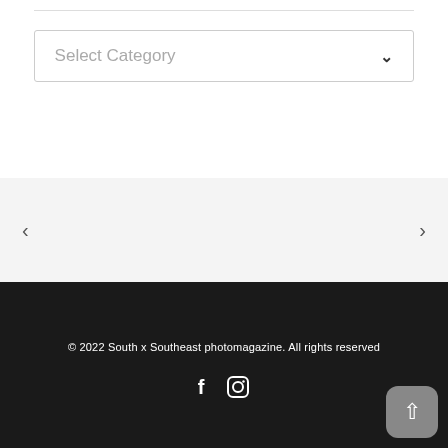[Figure (screenshot): Dropdown selector widget with label 'Select Category' and a chevron down icon, inside a bordered box]
[Figure (screenshot): Slider/carousel navigation area with left arrow '<' and right arrow '>' on a light gray background]
© 2022 South x Southeast photomagazine. All rights reserved
[Figure (infographic): Social media icons: Facebook (f) and Instagram (camera) icons in white on dark background, plus a scroll-to-top button (up arrow) in gray rounded square]